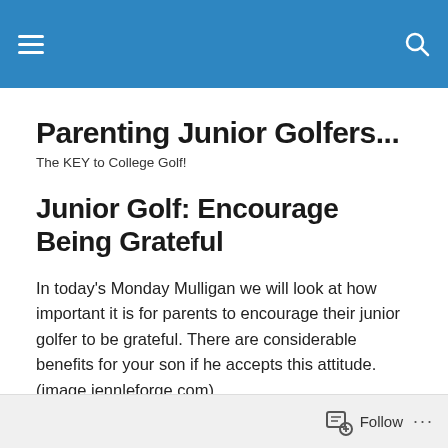Parenting Junior Golfers... — navigation header
Parenting Junior Golfers...
The KEY to College Golf!
Junior Golf: Encourage Being Grateful
In today's Monday Mulligan we will look at how important it is for parents to encourage their junior golfer to be grateful. There are considerable benefits for your son if he accepts this attitude. (image jennleforge.com)
Follow